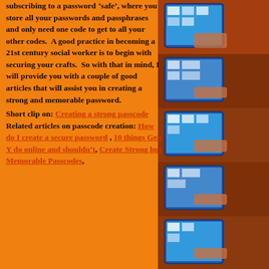subscribing to a password 'safe', where you store all your passwords and passphrases and only need one code to get to all your other codes. A good practice in becoming a 21st century social worker is to begin with securing your crafts. So with that in mind, I will provide you with a couple of good articles that will assist you in creating a strong and memorable password.
Short clip on: Creating a strong passcode   Related articles on passcode creation: How do I create a secure password , 10 things Gen Y do online and shouldn't, Create Strong but Memorable Passcodes,
[Figure (photo): A vertical strip of repeated photos showing tablet computers (resembling Motorola Xoom or similar Android tablets) being held, with a brick wall background. The tablets display a blue screen with app icons. The strip repeats the same image multiple times vertically.]